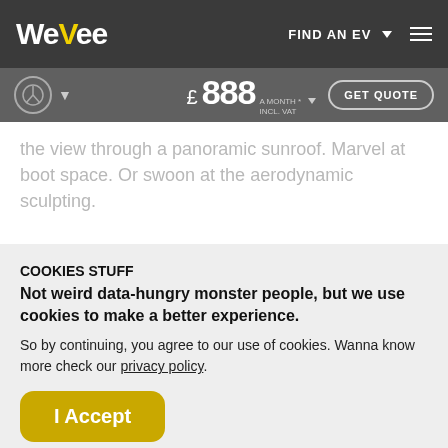WeVee | FIND AN EV
the view through a panoramic sunroof. Marvel at boot space. Or swoon at the aerodynamic sculpting.
COOKIES STUFF
Not weird data-hungry monster people, but we use cookies to make a better experience.
So by continuing, you agree to our use of cookies. Wanna know more check our privacy policy.
I Accept